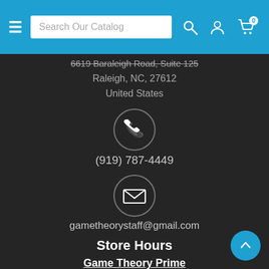Search Our Catalog
6619 Baraleigh Road, Suite 125
Raleigh, NC, 27612
United States
[Figure (illustration): Phone icon inside a circle]
(919) 787-4449
[Figure (illustration): Email envelope icon inside a circle]
gametheorystaff@gmail.com
Store Hours
Game Theory Prime
Sunday 11am - 6pm
Monday 11am - 10pm
Tuesday 11am - 10pm